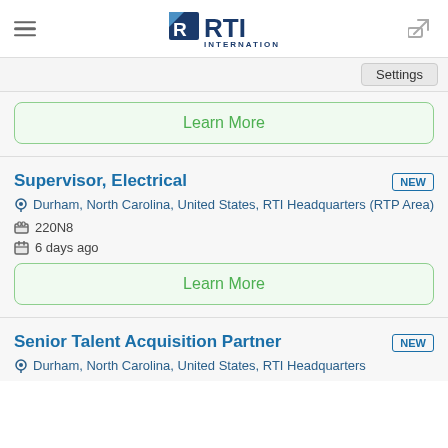RTI International
Settings
Learn More
Supervisor, Electrical
Durham, North Carolina, United States, RTI Headquarters (RTP Area)
220N8
6 days ago
Learn More
Senior Talent Acquisition Partner
Durham, North Carolina, United States, RTI Headquarters